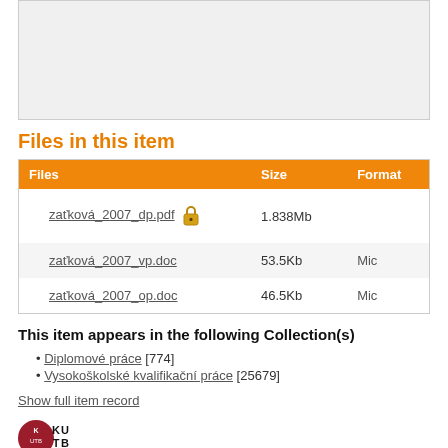[Figure (other): Gray box area at top of page (cropped content above)]
Files in this item
| Files | Size | Format |
| --- | --- | --- |
| zaťková_2007_dp.pdf 🔒 | 1.838Mb |  |
| zaťková_2007_vp.doc | 53.5Kb | Mic |
| zaťková_2007_op.doc | 46.5Kb | Mic |
This item appears in the following Collection(s)
Diplomové práce [774]
Vysokoškolské kvalifikační práce [25679]
Show full item record
[Figure (logo): K UTB university logo (red circle with K UTB text)]